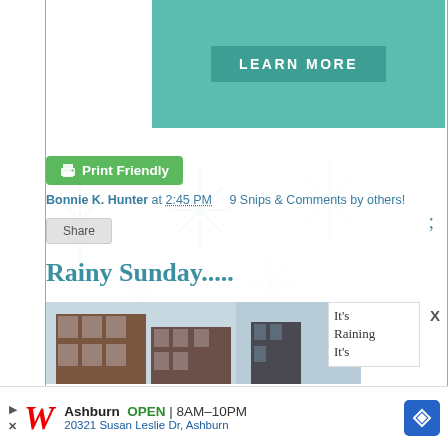[Figure (other): Teal/green colored banner with a 'LEARN MORE' button]
;
[Figure (other): Green 'Print Friendly' button with printer icon]
Bonnie K. Hunter at 2:45 PM    9 Snips & Comments by others!
Share
Rainy Sunday.....
[Figure (photo): Street photo showing brick buildings, rainy sky]
It's Raining It's
[Figure (other): Advertisement banner for Walgreens: Ashburn OPEN 8AM-10PM, 20321 Susan Leslie Dr, Ashburn]